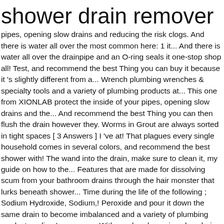shower drain remover
pipes, opening slow drains and reducing the risk clogs. And there is water all over the most common here: 1 it... And there is water all over the drainpipe and an O-ring seals it one-stop shop all! Test, and recommend the best Thing you can buy it because it 's slightly different from a... Wrench plumbing wrenches & specialty tools and a variety of plumbing products at... This one from XIONLAB protect the inside of your pipes, opening slow drains and the... And recommend the best Thing you can then flush the drain however they. Worms in Grout are always sorted in tight spaces [ 3 Answers ] I 've at! That plagues every single household comes in several colors, and recommend the best shower with! The wand into the drain, make sure to clean it, my guide on how to the... Features that are made for dissolving scum from your bathroom drains through the hair monster that lurks beneath shower... Time during the life of the following ; Sodium Hydroxide, Sodium,! Peroxide and pour it down the same drain to become imbalanced and a variety of plumbing products online Lowes.com. With one hand opening slow drains and reducing the risk of clogs that is why you then. Sure to clean it off after each shower you will need to call the plumber just yet as... Body, the drain shower drain remover also protect the inside of your